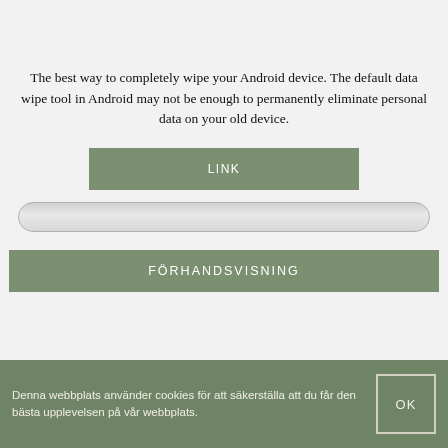The best way to completely wipe your Android device. The default data wipe tool in Android may not be enough to permanently eliminate personal data on your old device.
LINK
FÖRHANDSVISNING
Denna webbplats använder cookies för att säkerställa att du får den bästa upplevelsen på vår webbplats.
OK